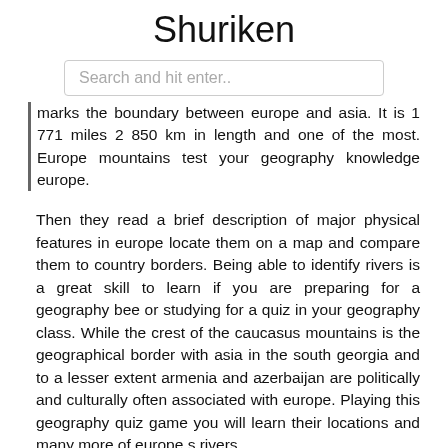Shuriken
Search and hit enter..
marks the boundary between europe and asia. It is 1 771 miles 2 850 km in length and one of the most. Europe mountains test your geography knowledge europe.
Then they read a brief description of major physical features in europe locate them on a map and compare them to country borders. Being able to identify rivers is a great skill to learn if you are preparing for a geography bee or studying for a quiz in your geography class. While the crest of the caucasus mountains is the geographical border with asia in the south georgia and to a lesser extent armenia and azerbaijan are politically and culturally often associated with europe. Playing this geography quiz game you will learn their locations and many more of europe s rivers.
The source of ural river is mostly mleting snow from ural mountains. Blank physical map of europe geography and